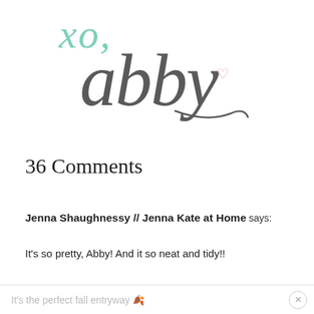[Figure (logo): Handwritten script logo reading 'xo, abby' with a small pink heart, in grey and mint green cursive lettering]
36 Comments
Jenna Shaughnessy // Jenna Kate at Home says:
It's so pretty, Abby! And it so neat and tidy!!
It's the perfect fall entryway 🍂